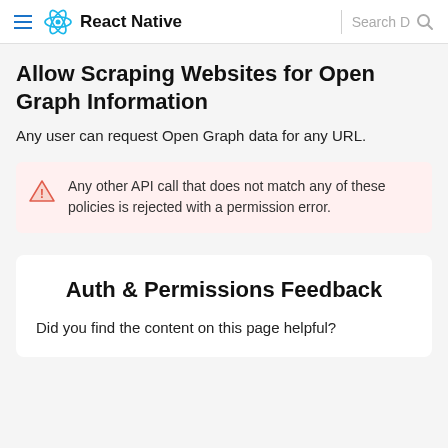React Native
Allow Scraping Websites for Open Graph Information
Any user can request Open Graph data for any URL.
Any other API call that does not match any of these policies is rejected with a permission error.
Auth & Permissions Feedback
Did you find the content on this page helpful?